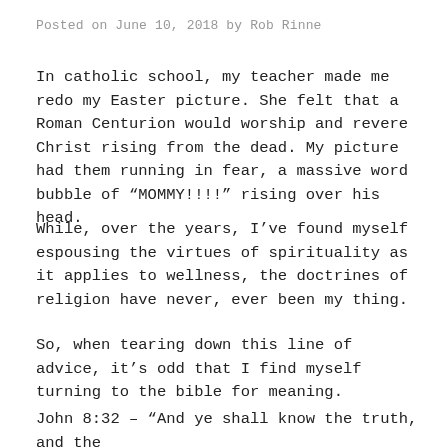Posted on June 10, 2018 by Rob Rinne
In catholic school, my teacher made me redo my Easter picture. She felt that a Roman Centurion would worship and revere Christ rising from the dead. My picture had them running in fear, a massive word bubble of “MOMMY!!!!” rising over his head.
While, over the years, I’ve found myself espousing the virtues of spirituality as it applies to wellness, the doctrines of religion have never, ever been my thing.
So, when tearing down this line of advice, it’s odd that I find myself turning to the bible for meaning.
John 8:32 – “And ye shall know the truth, and the